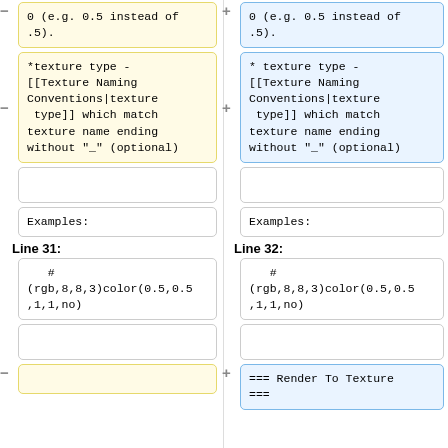0 (e.g. 0.5 instead of .5).
0 (e.g. 0.5 instead of .5).
*texture type - [[Texture Naming Conventions|texture type]] which match texture name ending without "_" (optional)
* texture type - [[Texture Naming Conventions|texture type]] which match texture name ending without "_" (optional)
Examples:
Examples:
Line 31:
Line 32:
#
(rgb,8,8,3)color(0.5,0.5,1,1,no)
#
(rgb,8,8,3)color(0.5,0.5,1,1,no)
=== Render To Texture ===